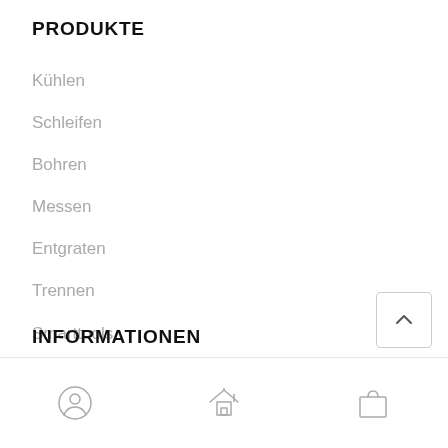PRODUKTE
Kühlen
Schleifen
Bohren
Messen
Entgraten
Trennen
Smarttools
INFORMATIONEN
[Figure (other): Bottom navigation bar with three icons: user/profile icon, home icon, and shopping bag icon]